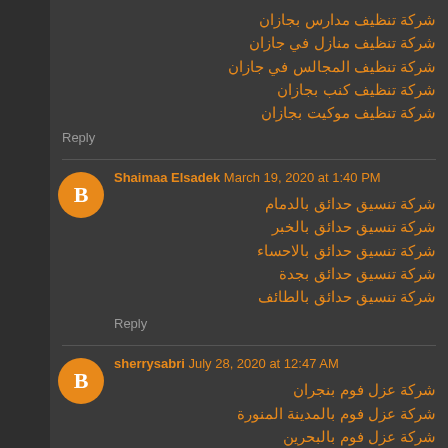شركة تنظيف مدارس بجازان
شركة تنظيف منازل في جازان
شركة تنظيف المجالس في جازان
شركة تنظيف كنب بجازان
شركة تنظيف موكيت بجازان
Reply
Shaimaa Elsadek  March 19, 2020 at 1:40 PM
شركة تنسيق حدائق بالدمام
شركة تنسيق حدائق بالخبر
شركة تنسيق حدائق بالاحساء
شركة تنسيق حدائق بجدة
شركة تنسيق حدائق بالطائف
Reply
sherrysabri  July 28, 2020 at 12:47 AM
شركة عزل فوم بنجران
شركة عزل فوم بالمدينة المنورة
شركة عزل فوم بالبحرين
شركة عزل فوم بالإمارات
شركة عزل فوم بابها